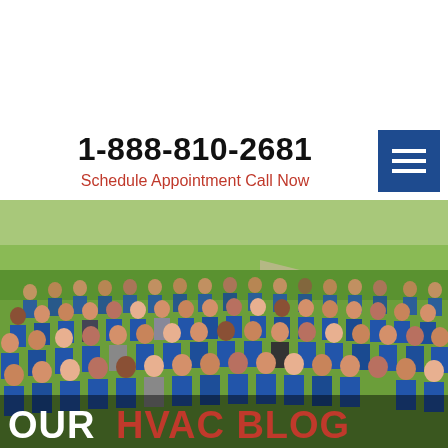1-888-810-2681
Schedule Appointment Call Now
[Figure (photo): Large group photo of HVAC company employees wearing blue uniforms, posed outdoors on a lawn with trees in background. Text overlay at bottom reads OUR HVAC BLOG.]
OUR HVAC BLOG